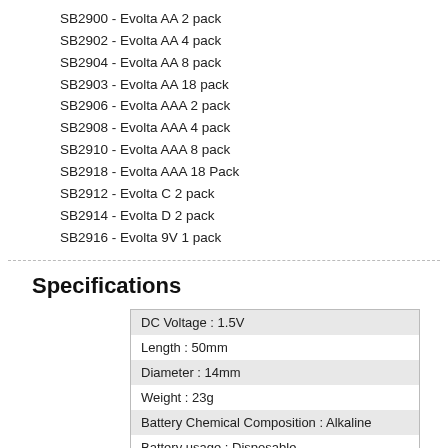SB2900 - Evolta AA 2 pack
SB2902 - Evolta AA 4 pack
SB2904 - Evolta AA 8 pack
SB2903 - Evolta AA 18 pack
SB2906 - Evolta AAA 2 pack
SB2908 - Evolta AAA 4 pack
SB2910 - Evolta AAA 8 pack
SB2918 - Evolta AAA 18 Pack
SB2912 - Evolta C 2 pack
SB2914 - Evolta D 2 pack
SB2916 - Evolta 9V 1 pack
Specifications
| DC Voltage : 1.5V |
| Length : 50mm |
| Diameter : 14mm |
| Weight : 23g |
| Battery Chemical Composition : Alkaline |
| Battery usage : Disposable |
| Connection Type : Nipple |
| Type of battery : disposable (AA, AAA, D, C. 9V, CR123a) |